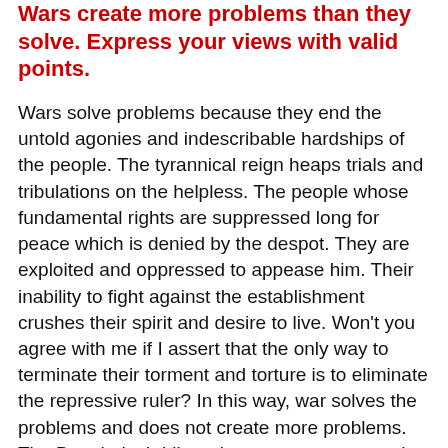Wars create more problems than they solve. Express your views with valid points.
Wars solve problems because they end the untold agonies and indescribable hardships of the people. The tyrannical reign heaps trials and tribulations on the helpless. The people whose fundamental rights are suppressed long for peace which is denied by the despot. They are exploited and oppressed to appease him. Their inability to fight against the establishment crushes their spirit and desire to live. Won't you agree with me if I assert that the only way to terminate their torment and torture is to eliminate the repressive ruler? In this way, war solves the problems and does not create more problems. The Bangladesh Liberation war was an armed conflict sparked by self-determination movement. India supported